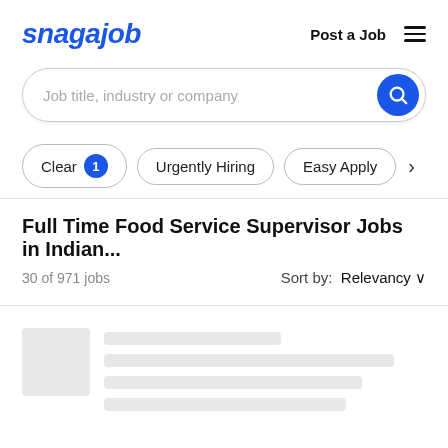[Figure (logo): Snagajob logo in blue italic bold text]
Post a Job
[Figure (other): Hamburger menu icon]
Job title, industry or company
Clear 1
Urgently Hiring
Easy Apply
Full Time Food Service Supervisor Jobs in Indian...
30 of 971 jobs
Sort by:  Relevancy ∨
[Figure (other): Loading skeleton placeholder with grey image block and grey lines]